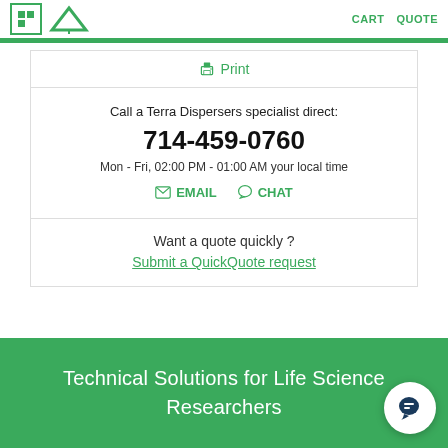CART  QUOTE
Print
Call a Terra Dispersers specialist direct:
714-459-0760
Mon - Fri, 02:00 PM - 01:00 AM your local time
EMAIL  CHAT
Want a quote quickly ?
Submit a QuickQuote request
Technical Solutions for Life Science Researchers